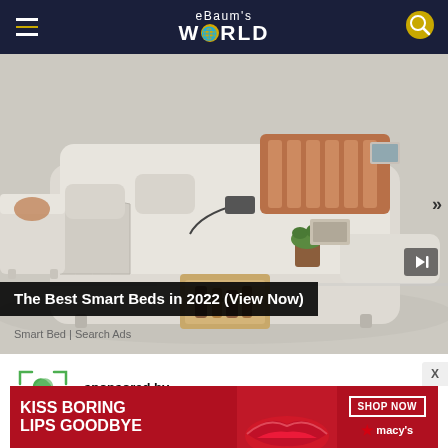eBaum's World
[Figure (screenshot): Screenshot of eBaum's World website showing an advertisement for smart beds. The ad features a luxury smart bed with storage drawers, massage features, and a tablet mount. A slideshow-style ad for 'The Best Smart Beds in 2022 (View Now)' from Smart Bed | Search Ads is shown.]
The Best Smart Beds in 2022 (View Now)
Smart Bed | Search Ads
sponsored by
PictureThis
[Figure (photo): Bottom banner advertisement: KISS BORING LIPS GOODBYE — SHOP NOW — macy's with star logo. Red background with woman's lips.]